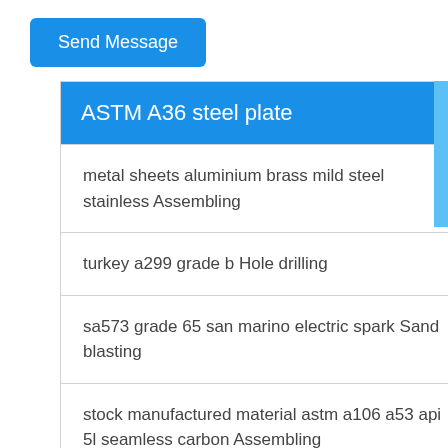Send Message
ASTM A36 steel plate
metal sheets aluminium brass mild steel stainless Assembling
turkey a299 grade b Hole drilling
sa573 grade 65 san marino electric spark Sand blasting
stock manufactured material astm a106 a53 api 5l seamless carbon Assembling
house manufacturing sa283 grade c coil manufacture Forming